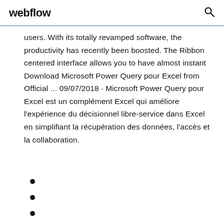webflow
users. With its totally revamped software, the productivity has recently been boosted. The Ribbon centered interface allows you to have almost instant Download Microsoft Power Query pour Excel from Official ... 09/07/2018 · Microsoft Power Query pour Excel est un complément Excel qui améliore l'expérience du décisionnel libre-service dans Excel en simplifiant la récupération des données, l'accès et la collaboration.